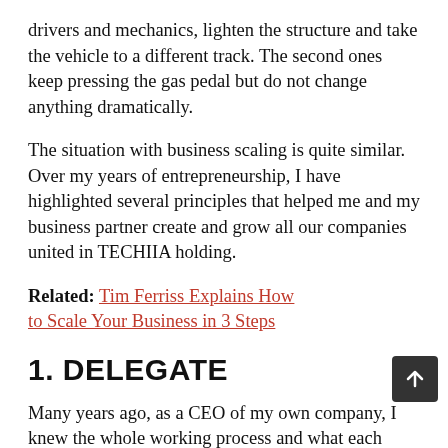drivers and mechanics, lighten the structure and take the vehicle to a different track. The second ones keep pressing the gas pedal but do not change anything dramatically.
The situation with business scaling is quite similar. Over my years of entrepreneurship, I have highlighted several principles that helped me and my business partner create and grow all our companies united in TECHIIA holding.
Related: Tim Ferriss Explains How to Scale Your Business in 3 Steps
1. DELEGATE
Many years ago, as a CEO of my own company, I knew the whole working process and what each employee was doing — even the small details. After that, it was extremely difficult to delegate the management to another person.